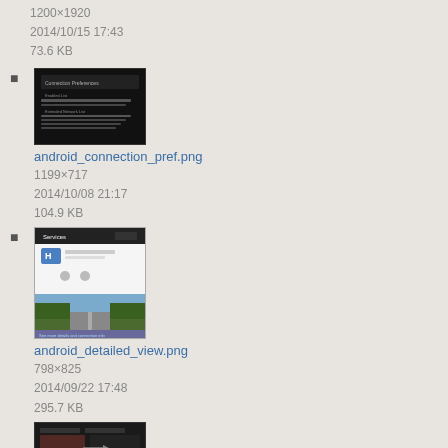1200×1920
2014/10/15 17:43
73.6 KB
android_connection_pref.png
1199×717
2014/10/08 21:17
104.9 KB
android_detailed_view.png
798×825
2014/09/22 17:48
295.7 KB